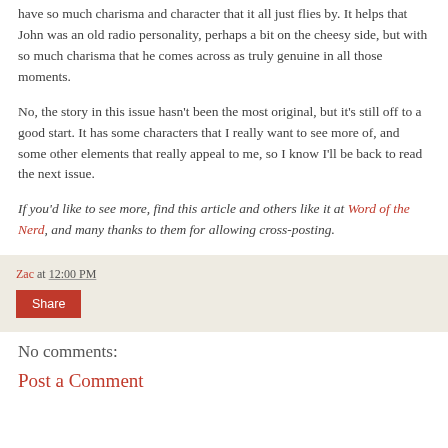have so much charisma and character that it all just flies by. It helps that John was an old radio personality, perhaps a bit on the cheesy side, but with so much charisma that he comes across as truly genuine in all those moments.
No, the story in this issue hasn't been the most original, but it's still off to a good start. It has some characters that I really want to see more of, and some other elements that really appeal to me, so I know I'll be back to read the next issue.
If you'd like to see more, find this article and others like it at Word of the Nerd, and many thanks to them for allowing cross-posting.
Zac at 12:00 PM
Share
No comments:
Post a Comment